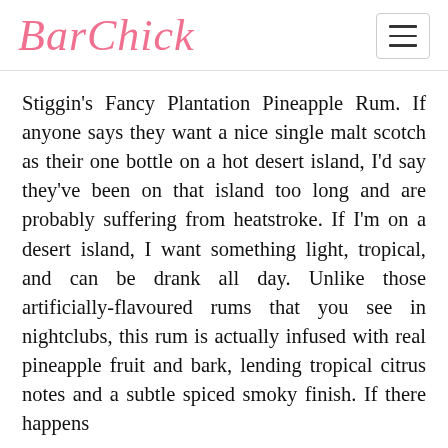BarChick
Stiggin's Fancy Plantation Pineapple Rum. If anyone says they want a nice single malt scotch as their one bottle on a hot desert island, I'd say they've been on that island too long and are probably suffering from heatstroke. If I'm on a desert island, I want something light, tropical, and can be drank all day. Unlike those artificially-flavoured rums that you see in nightclubs, this rum is actually infused with real pineapple fruit and bark, lending tropical citrus notes and a subtle spiced smoky finish. If there happens